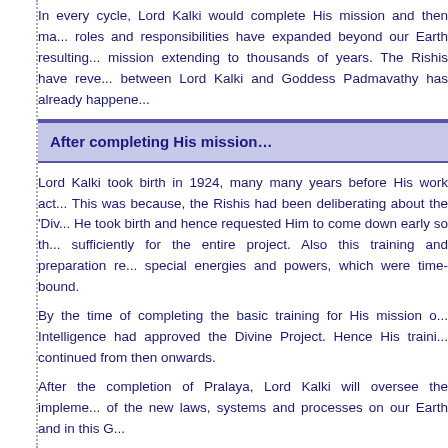In every cycle, Lord Kalki would complete His mission and then ma... roles and responsibilities have expanded beyond our Earth resulting... mission extending to thousands of years. The Rishis have reve... between Lord Kalki and Goddess Padmavathy has already happene...
After completing His mission…
Lord Kalki took birth in 1924, many many years before His work act... This was because, the Rishis had been deliberating about the 'Div... He took birth and hence requested Him to come down early so th... sufficiently for the entire project. Also this training and preparation re... special energies and powers, which were time-bound.
By the time of completing the basic training for His mission o... Intelligence had approved the Divine Project. Hence His traini... continued from then onwards.
After the completion of Pralaya, Lord Kalki will oversee the impleme... of the new laws, systems and processes on our Earth and in this G...